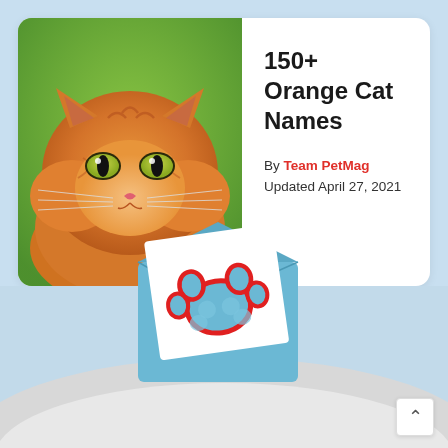[Figure (photo): Orange tabby cat facing forward with green eyes against a green background]
150+ Orange Cat Names
By Team PetMag
Updated April 27, 2021
[Figure (illustration): Blue envelope with a white card showing a red and blue paw print icon, set against a light blue sky and grey snow hill background]
[Figure (illustration): Paw print watermark in the sky area]